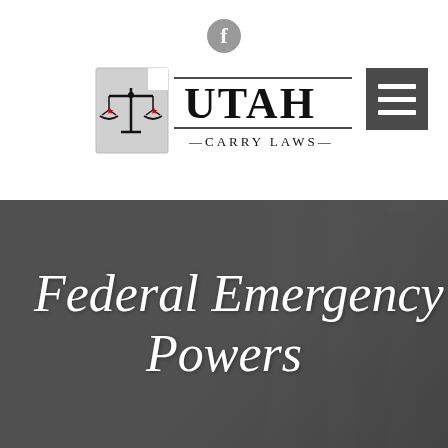[Figure (logo): Facebook icon (social media circle icon) in gray]
[Figure (logo): Utah Carry Laws logo: a scales of justice icon overlaid on a Utah state shape silhouette, with the text UTAH in large serif letters and CARRY LAWS below with dashes on either side]
[Figure (other): Hamburger menu icon: dark gray square with three white horizontal lines]
[Figure (photo): Dark gray background section with architectural columns visible on the right side, overlaid with large italic white text reading Federal Emergency Powers]
Federal Emergency Powers